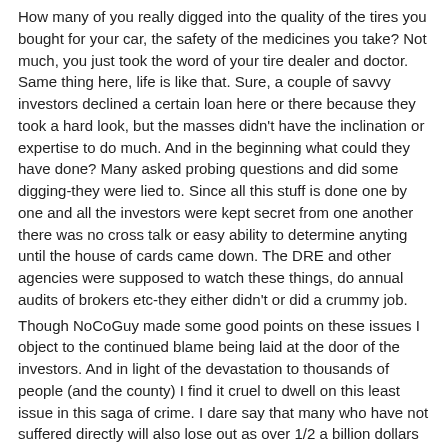How many of you really digged into the quality of the tires you bought for your car, the safety of the medicines you take? Not much, you just took the word of your tire dealer and doctor. Same thing here, life is like that. Sure, a couple of savvy investors declined a certain loan here or there because they took a hard look, but the masses didn't have the inclination or expertise to do much. And in the beginning what could they have done? Many asked probing questions and did some digging-they were lied to. Since all this stuff is done one by one and all the investors were kept secret from one another there was no cross talk or easy ability to determine anyting until the house of cards came down. The DRE and other agencies were supposed to watch these things, do annual audits of brokers etc-they either didn't or did a crummy job.
Though NoCoGuy made some good points on these issues I object to the continued blame being laid at the door of the investors. And in light of the devastation to thousands of people (and the county) I find it cruel to dwell on this least issue in this saga of crime. I dare say that many who have not suffered directly will also lose out as over 1/2 a billion dollars has been sucked out of our economy by a small group of thieves-that affects all of us.
By: BeenThereDoneThat on 8/26/09
WhatWentWrong
Ok Have another thought on it...